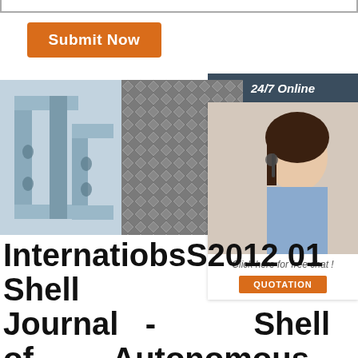[Figure (other): Top border / input field border graphic]
[Figure (other): Orange Submit Now button]
[Figure (other): Dark banner reading 24/7 Online]
[Figure (photo): Steel C-channel / purlin profile photo]
[Figure (photo): Corrugated metal mesh / cooling tower fill photo]
[Figure (photo): Customer service representative with headset, 24/7 online chat widget]
International Journal of Scientific & BS 2012 01 - Autonomous surface cleaning Shell Technology Future 2004 -